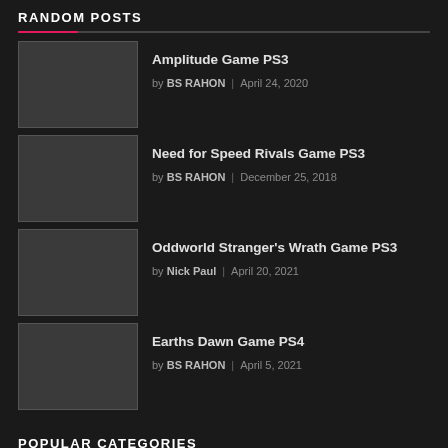RANDOM POSTS
Amplitude Game PS3 | by BS RAHON | April 24, 2020
Need for Speed Rivals Game PS3 | by BS RAHON | December 25, 2018
Oddworld Stranger's Wrath Game PS3 | by Nick Paul | April 20, 2021
Earths Dawn Game PS4 | by BS RAHON | April 5, 2021
POPULAR CATEGORIES
Emulators (4)